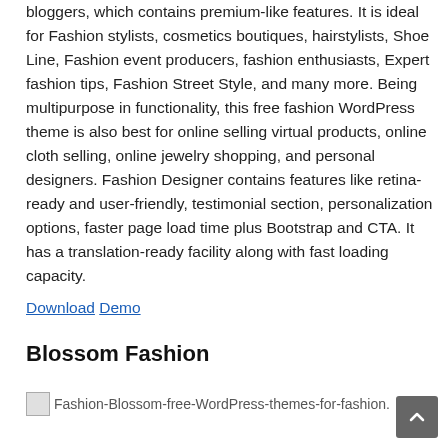bloggers, which contains premium-like features. It is ideal for Fashion stylists, cosmetics boutiques, hairstylists, Shoe Line, Fashion event producers, fashion enthusiasts, Expert fashion tips, Fashion Street Style, and many more. Being multipurpose in functionality, this free fashion WordPress theme is also best for online selling virtual products, online cloth selling, online jewelry shopping, and personal designers. Fashion Designer contains features like retina-ready and user-friendly, testimonial section, personalization options, faster page load time plus Bootstrap and CTA. It has a translation-ready facility along with fast loading capacity.
Download Demo
Blossom Fashion
[Figure (photo): Broken image placeholder for Fashion-Blossom-free-WordPress-themes-for-fashion.]